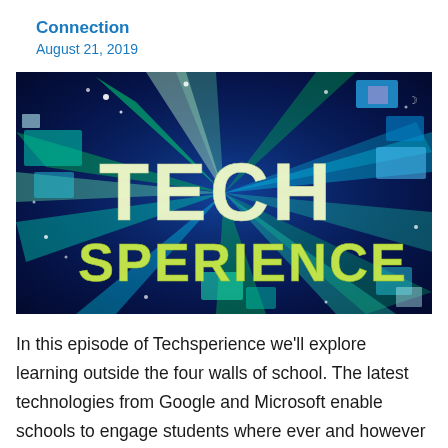Connection
August 21, 2019
[Figure (illustration): Techsperience logo/title card — dark blue background with starburst light rays in green and blue, large text reading 'TECH' in cream/white and 'SPERIENCE' in yellow-green, with scattered geometric squares and sparkle effects.]
In this episode of Techsperience we'll explore learning outside the four walls of school. The latest technologies from Google and Microsoft enable schools to engage students where ever and however they learn best.